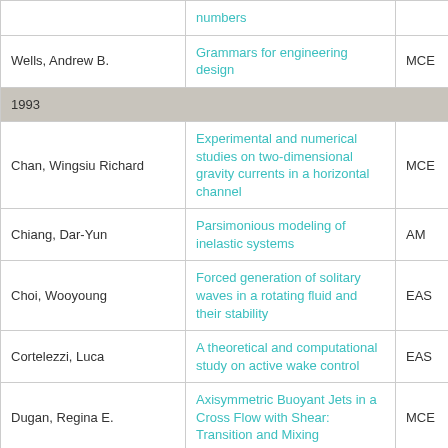| Name | Thesis Title | Dept |
| --- | --- | --- |
|  | numbers |  |
| Wells, Andrew B. | Grammars for engineering design | MCE |
| 1993 |  |  |
| Chan, Wingsiu Richard | Experimental and numerical studies on two-dimensional gravity currents in a horizontal channel | MCE |
| Chiang, Dar-Yun | Parsimonious modeling of inelastic systems | AM |
| Choi, Wooyoung | Forced generation of solitary waves in a rotating fluid and their stability | EAS |
| Cortelezzi, Luca | A theoretical and computational study on active wake control | EAS |
| Dugan, Regina E. | Axisymmetric Buoyant Jets in a Cross Flow with Shear: Transition and Mixing | MCE |
| Harley, Robert Adam | Mathematical modeling of gas-phase organic air pollutants | EAS |
| Hart, Douglas P. | Cavitation and wake structure of unsteady tip vortex flows | MCE |
|  | Shear-induced transport properties |  |